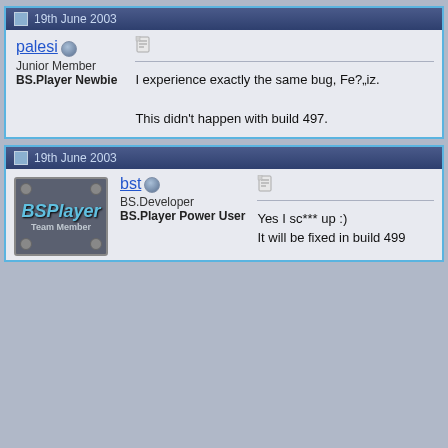19th June 2003
palesi
Junior Member
BS.Player Newbie
I experience exactly the same bug, Fe?„iz.

This didn't happen with build 497.
19th June 2003
[Figure (illustration): BSPlayer Team Member avatar badge - dark metallic badge with BSPlayer text in blue and 'Team Member' subtitle]
bst
BS.Developer
BS.Player Power User
Yes I sc*** up :)
It will be fixed in build 499